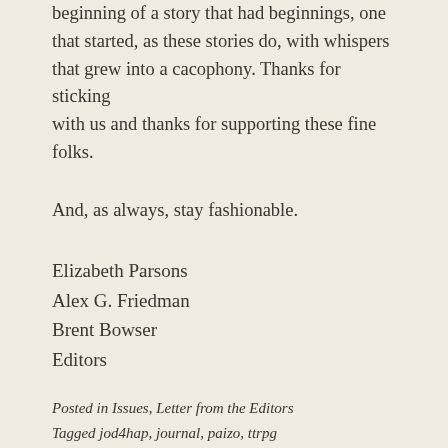beginning of a story that had beginnings, one that started, as these stories do, with whispers that grew into a cacophony. Thanks for sticking with us and thanks for supporting these fine folks.
And, as always, stay fashionable.
Elizabeth Parsons
Alex G. Friedman
Brent Bowser
Editors
Posted in Issues, Letter from the Editors
Tagged jod4hap, journal, paizo, ttrpg